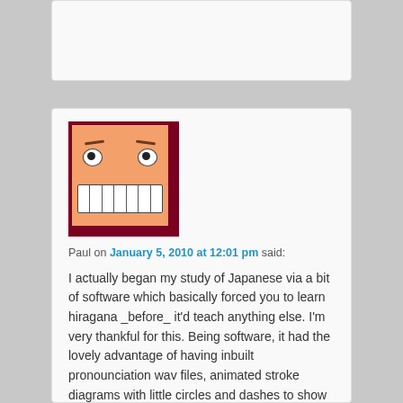[Figure (illustration): Cartoon avatar with a scary face: orange square face with wide eyes, dark eyebrows, and a wide toothy grin, set against a dark red/maroon square border background.]
Paul on January 5, 2010 at 12:01 pm said:
I actually began my study of Japanese via a bit of software which basically forced you to learn hiragana _before_ it'd teach anything else. I'm very thankful for this. Being software, it had the lovely advantage of having inbuilt pronounciation wav files, animated stroke diagrams with little circles and dashes to show you how to keep your letters well shaped and a even a little game to practice. To stop it being monotonous, each row was introduced with silly pnemonics and cultural quips. Halfway through, there was just a chapter of interesting things about Japan and a big ol' wad of curious historical facts about the writing system